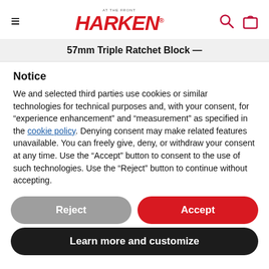Harken — AT THE FRONT — navigation header with hamburger, logo, search and bag icons
57mm Triple Ratchet Block —
Notice
We and selected third parties use cookies or similar technologies for technical purposes and, with your consent, for “experience enhancement” and “measurement” as specified in the cookie policy. Denying consent may make related features unavailable. You can freely give, deny, or withdraw your consent at any time. Use the “Accept” button to consent to the use of such technologies. Use the “Reject” button to continue without accepting.
Reject
Accept
Learn more and customize